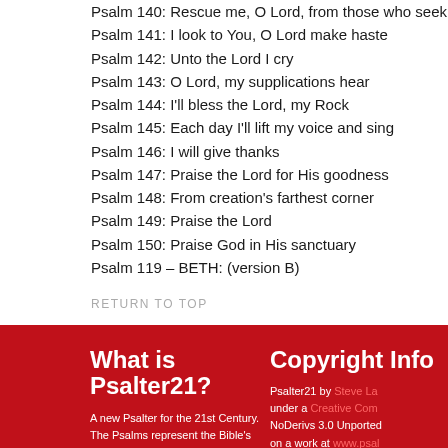Psalm 140: Rescue me, O Lord, from those who seek evil
Psalm 141: I look to You, O Lord make haste
Psalm 142: Unto the Lord I cry
Psalm 143: O Lord, my supplications hear
Psalm 144: I'll bless the Lord, my Rock
Psalm 145: Each day I'll lift my voice and sing
Psalm 146: I will give thanks
Psalm 147: Praise the Lord for His goodness
Psalm 148: From creation's farthest corner
Psalm 149: Praise the Lord
Psalm 150: Praise God in His sanctuary
Psalm 119 – BETH: (version B)
RETURN TO TOP
What is Psalter21?
A new Psalter for the 21st Century. The Psalms represent the Bible's own library of songs specifically written to be sung as part of private and corporate worship. It is my sincere prayer and desire that
Copyright Info
Psalter21 by Steve La under a Creative Com NoDerivs 3.0 Unported on a work at www.psal Permissions beyond t